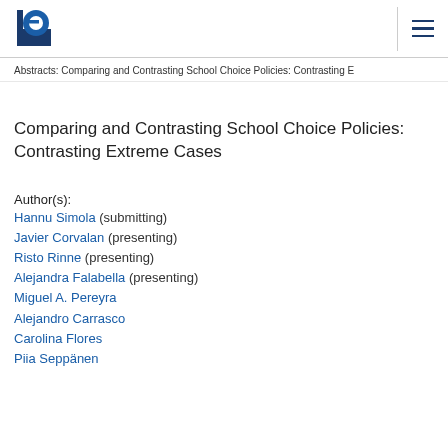EERA logo and navigation menu
Abstracts: Comparing and Contrasting School Choice Policies: Contrasting E
Comparing and Contrasting School Choice Policies: Contrasting Extreme Cases
Author(s):
Hannu Simola (submitting)
Javier Corvalan (presenting)
Risto Rinne (presenting)
Alejandra Falabella (presenting)
Miguel A. Pereyra
Alejandro Carrasco
Carolina Flores
Piia Seppänen